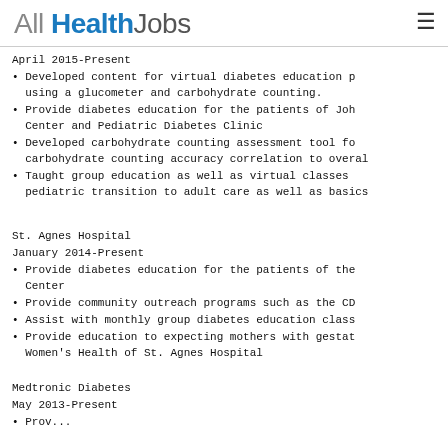All Health Jobs
April 2015-Present
Developed content for virtual diabetes education p... using a glucometer and carbohydrate counting.
Provide diabetes education for the patients of Joh... Center and Pediatric Diabetes Clinic
Developed carbohydrate counting assessment tool fo... carbohydrate counting accuracy correlation to overal...
Taught group education as well as virtual classes... pediatric transition to adult care as well as basics...
St. Agnes Hospital
January 2014-Present
Provide diabetes education for the patients of the... Center
Provide community outreach programs such as the CD...
Assist with monthly group diabetes education class...
Provide education to expecting mothers with gestat... Women's Health of St. Agnes Hospital
Medtronic Diabetes
May 2013-Present
Prov...